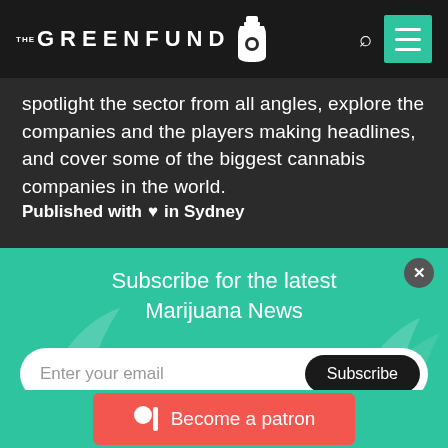THE GREENFUND
spotlight the sector from all angles, explore the companies and the players making headlines, and cover some of the biggest cannabis companies in the world.
Published with ♥ in Sydney
Subscribe for the latest Marijuana News
Enter your email  Subscribe
Become a Patron below and support us in covering the latest marijuana news!
Become a patron